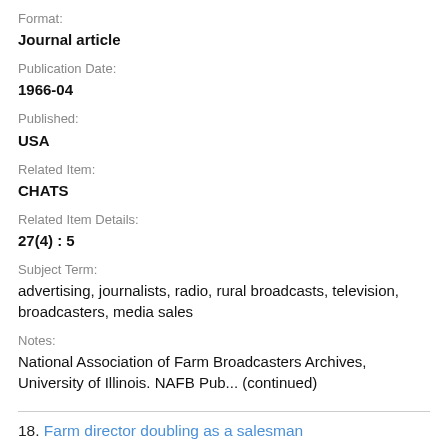Format:
Journal article
Publication Date:
1966-04
Published:
USA
Related Item:
CHATS
Related Item Details:
27(4) : 5
Subject Term:
advertising, journalists, radio, rural broadcasts, television, broadcasters, media sales
Notes:
National Association of Farm Broadcasters Archives, University of Illinois. NAFB Pub... (continued)
18. Farm director doubling as a salesman